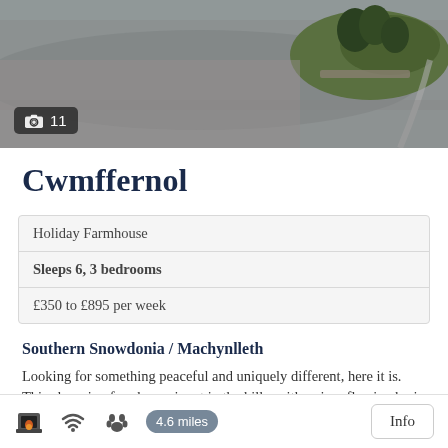[Figure (photo): Aerial or wide landscape photo of a rural hillside with grey/purple heather moorland and a green grassy mound with trees and stone wall in the upper right. Photo badge showing camera icon and number 11.]
Cwmffernol
| Holiday Farmhouse |
| Sleeps 6, 3 bedrooms |
| £350 to £895 per week |
Southern Snowdonia / Machynlleth
Looking for something peaceful and uniquely different, here it is. This charming farmhouse is set in the hills, with a river flowing by in its own valley. A wood stove gives it olde-worlde charm, and an oil Rayburn adds comfort .Xmas & New Year availabel
Icons: fireplace, wifi, pets allowed | 4.6 miles | Info